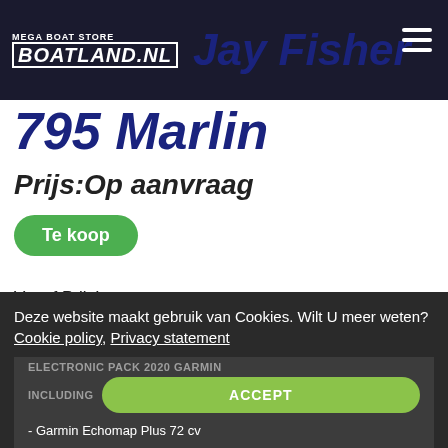MEGA BOAT STORE BOATLAND.NL
Jay Fisher 795 Marlin
Prijs:Op aanvraag
Te koop
Vanaf Prijs!
Deze website maakt gebruik van Cookies. Wilt U meer weten? Cookie policy, Privacy statement
ELECTRONIC PACK 2020 GARMIN INCLUDING
ACCEPT
- Garmin Echomap Plus 72 cv